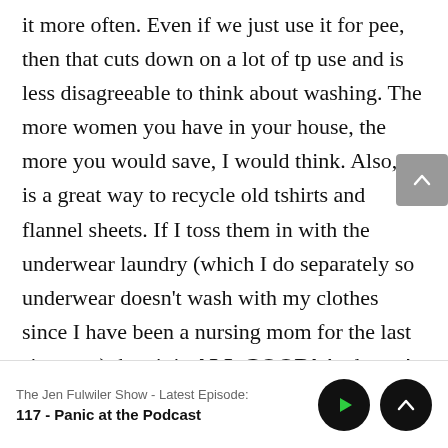it more often. Even if we just use it for pee, then that cuts down on a lot of tp use and is less disagreeable to think about washing. The more women you have in your house, the more you would save, I would think. Also, it is a great way to recycle old tshirts and flannel sheets. If I toss them in with the underwear laundry (which I do separately so underwear doesn't wash with my clothes since I have been a nursing mom for the last six years) then it is ALL GOOD! And easy!
The Jen Fulwiler Show - Latest Episode: 117 - Panic at the Podcast